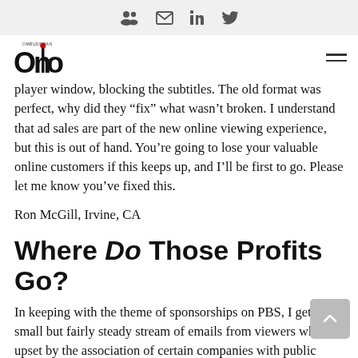social icons: group, email, linkedin, twitter
[Figure (logo): ONO magazine logo in black and red]
player window, blocking the subtitles. The old format was perfect, why did they “fix” what wasn’t broken. I understand that ad sales are part of the new online viewing experience, but this is out of hand. You’re going to lose your valuable online customers if this keeps up, and I’ll be first to go. Please let me know you’ve fixed this.
Ron McGill, Irvine, CA
Where Do Those Profits Go?
In keeping with the theme of sponsorships on PBS, I get a small but fairly steady stream of emails from viewers who are upset by the association of certain companies with public broadcasting and with the content of their